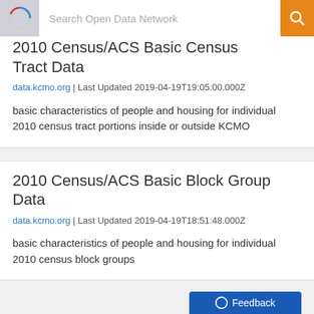Search Open Data Network
2010 Census/ACS Basic Census Tract Data
data.kcmo.org | Last Updated 2019-04-19T19:05:00.000Z
basic characteristics of people and housing for individual 2010 census tract portions inside or outside KCMO
2010 Census/ACS Basic Block Group Data
data.kcmo.org | Last Updated 2019-04-19T18:51:48.000Z
basic characteristics of people and housing for individual 2010 census block groups